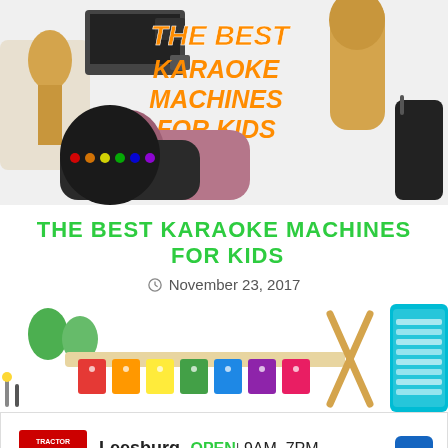[Figure (photo): Collage of karaoke microphones and a speaker with text 'THE BEST KARAOKE MACHINES FOR KIDS' in orange/yellow on blue and white background]
THE BEST KARAOKE MACHINES FOR KIDS
November 23, 2017
[Figure (photo): Collage of musical instruments for kids including colorful xylophone, egg shakers, drumsticks, and a teal xylophone case]
[Figure (infographic): Tractor Supply Co advertisement: Leesburg OPEN 9AM-7PM, 935 Edwards Ferry Road North.]